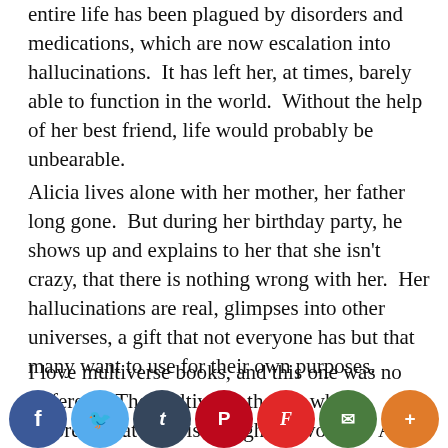entire life has been plagued by disorders and medications, which are now escalation into hallucinations.  It has left her, at times, barely able to function in the world.  Without the help of her best friend, life would probably be unbearable.
Alicia lives alone with her mother, her father long gone.  But during her birthday party, he shows up and explains to her that she isn't crazy, that there is nothing wrong with her.  Her hallucinations are real, glimpses into other universes, a gift that not everyone has but that many want to use for their own purposes.
I love multiverse books, and this one was no different.  The multiverse theory, while theoretical at best, is thought-provoking.  Are the parallel universes as real
[Figure (other): Social sharing buttons bar at bottom: Facebook (blue), Twitter (light blue), Tumblr (dark navy), Pinterest (red), Flipboard (red), Email (green), More (orange)]